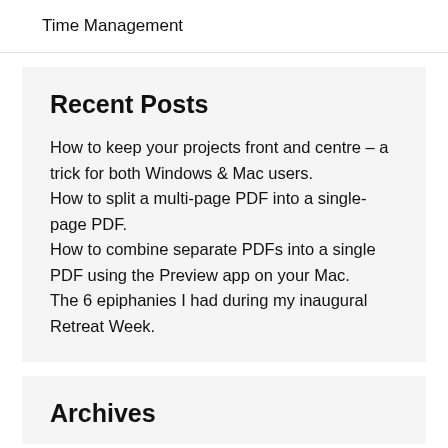Time Management
Recent Posts
How to keep your projects front and centre – a trick for both Windows & Mac users.
How to split a multi-page PDF into a single-page PDF.
How to combine separate PDFs into a single PDF using the Preview app on your Mac.
The 6 epiphanies I had during my inaugural Retreat Week.
Archives